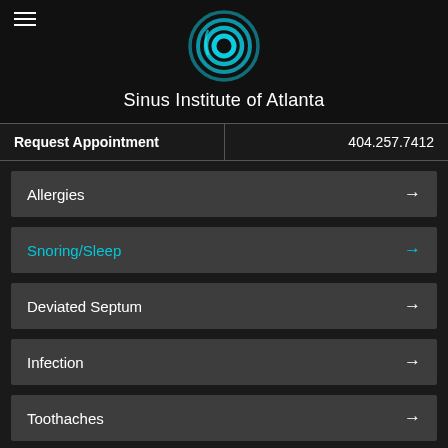[Figure (logo): Sinus Institute of Atlanta circular logo with teal concentric rings on black background]
Sinus Institute of Atlanta
Request Appointment | 404.257.7412
Allergies →
Snoring/Sleep →
Deviated Septum →
Infection →
Toothaches →